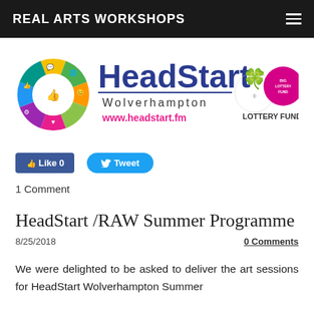REAL ARTS WORKSHOPS
[Figure (logo): HeadStart Wolverhampton logo with colourful circular icon and Big Lottery Fund funded badge. Website: www.headstart.fm]
Like 0   Tweet
1 Comment
HeadStart /RAW Summer Programme
8/25/2018   0 Comments
We were delighted to be asked to deliver the art sessions for HeadStart Wolverhampton Summer